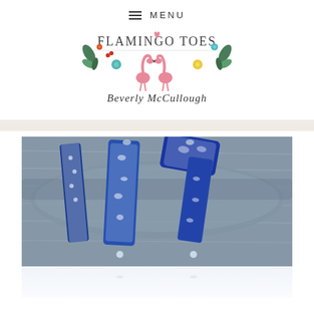≡ MENU
[Figure (logo): Flamingo Toes logo with illustrated flowers, leaves, and two pink flamingos forming a heart shape, with cursive text 'Beverly McCullough' below and 'FLAMINGO TOES' in block letters above]
[Figure (photo): Blue and white patterned fabric earrings or hair accessories with floral print, draped over weathered gray driftwood, with a white reflective surface below]